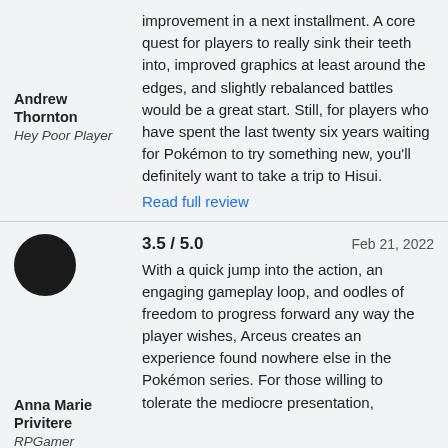improvement in a next installment. A core quest for players to really sink their teeth into, improved graphics at least around the edges, and slightly rebalanced battles would be a great start. Still, for players who have spent the last twenty six years waiting for Pokémon to try something new, you'll definitely want to take a trip to Hisui.
Read full review
Andrew Thornton
Hey Poor Player
3.5 / 5.0
Feb 21, 2022
With a quick jump into the action, an engaging gameplay loop, and oodles of freedom to progress forward any way the player wishes, Arceus creates an experience found nowhere else in the Pokémon series. For those willing to tolerate the mediocre presentation,
Anna Marie Privitere
RPGamer